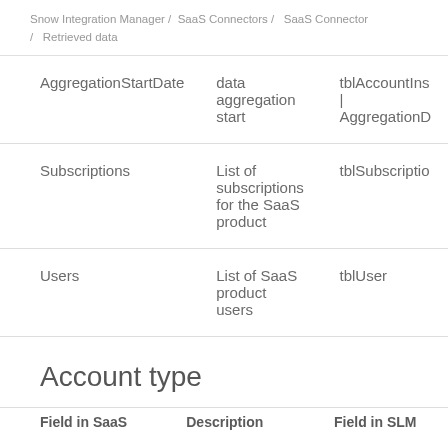Snow Integration Manager / SaaS Connectors / SaaS Connector / Retrieved data
| AggregationStartDate | data aggregation start | tblAccountIns | AggregationD |
| Subscriptions | List of subscriptions for the SaaS product | tblSubscriptio |
| Users | List of SaaS product users | tblUser |
Account type
| Field in SaaS | Description | Field in SLM |
| --- | --- | --- |